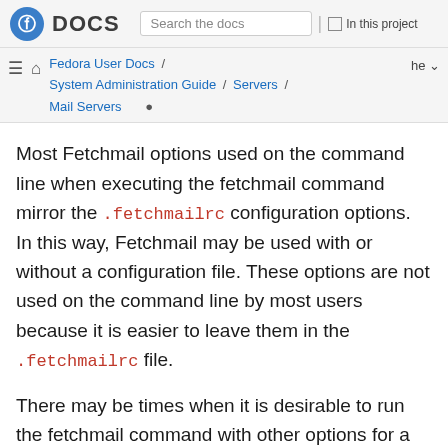DOCS | Search the docs | In this project
Fedora User Docs / System Administration Guide / Servers / Mail Servers | he
Most Fetchmail options used on the command line when executing the fetchmail command mirror the .fetchmailrc configuration options. In this way, Fetchmail may be used with or without a configuration file. These options are not used on the command line by most users because it is easier to leave them in the .fetchmailrc file.
There may be times when it is desirable to run the fetchmail command with other options for a particular purpose. It is possible to issue command options to temporarily override a .fetchmailrc